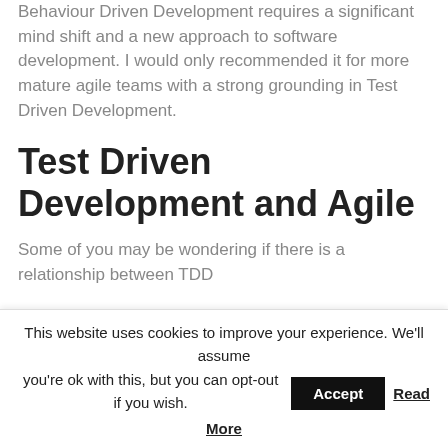Behaviour Driven Development requires a significant mind shift and a new approach to software development. I would only recommended it for more mature agile teams with a strong grounding in Test Driven Development.
Test Driven Development and Agile
Some of you may be wondering if there is a relationship between TDD
This website uses cookies to improve your experience. We'll assume you're ok with this, but you can opt-out if you wish. Accept Read More